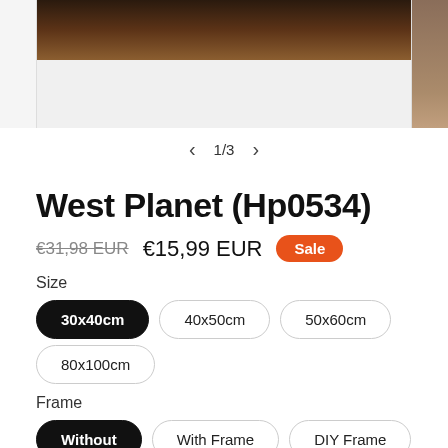[Figure (photo): Partial product image showing a framed artwork with dark brown tones, cropped at top. Pagination indicator '1/3' with left and right arrows below.]
West Planet (Hp0534)
€31,98 EUR  €15,99 EUR  Sale
Size
30x40cm
40x50cm
50x60cm
80x100cm
Frame
Without
With Frame
DIY Frame